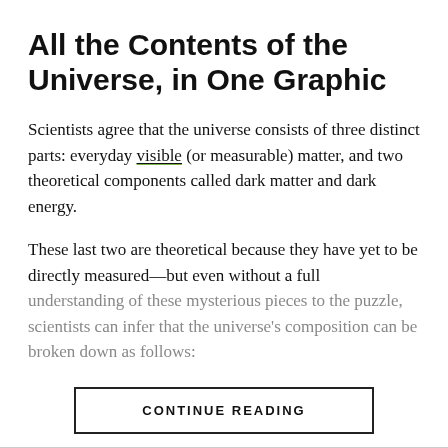All the Contents of the Universe, in One Graphic
Scientists agree that the universe consists of three distinct parts: everyday visible (or measurable) matter, and two theoretical components called dark matter and dark energy.
These last two are theoretical because they have yet to be directly measured—but even without a full understanding of these mysterious pieces to the puzzle, scientists can infer that the universe's composition can be broken down as follows:
CONTINUE READING